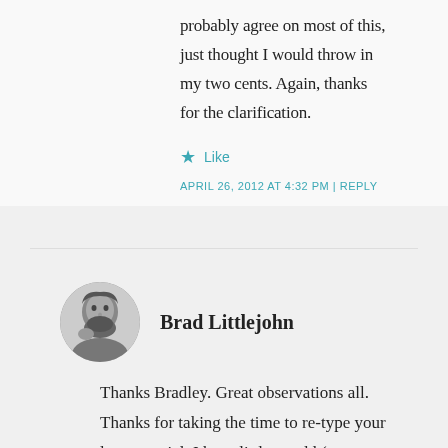probably agree on most of this, just thought I would throw in my two cents. Again, thanks for the clarification.
★ Like
APRIL 26, 2012 AT 4:32 PM | REPLY
Brad Littlejohn
Thanks Bradley. Great observations all. Thanks for taking the time to re-type your lost material. I have little to add (except to say that I accept your qualifications/corrections on my